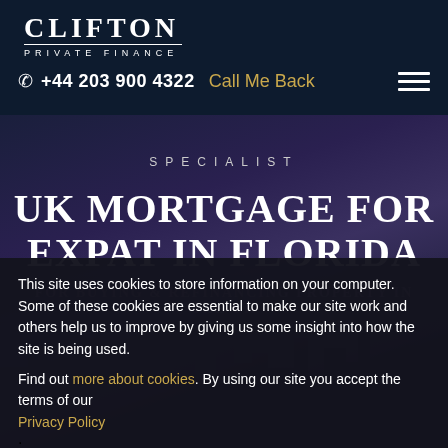[Figure (logo): Clifton Private Finance logo — bold white CLIFTON with 'PRIVATE FINANCE' subtitle, dark navy background]
+44 203 900 4322   Call Me Back
[Figure (photo): Dark moody cityscape hero image with purple/blue night sky and city silhouette]
SPECIALIST
UK MORTGAGE FOR EXPAT IN FLORIDA
FOR BUYING & REFINANCING PROPERTY IN THE UK
This site uses cookies to store information on your computer. Some of these cookies are essential to make our site work and others help us to improve by giving us some insight into how the site is being used.
Find out more about cookies. By using our site you accept the terms of our Privacy Policy.
I Agree